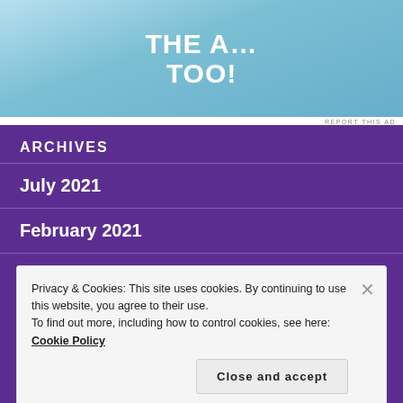[Figure (illustration): Blue sky advertisement banner with bold white text reading 'THE A... TOO!' in large uppercase letters]
REPORT THIS AD
ARCHIVES
July 2021
February 2021
January 2021
Privacy & Cookies: This site uses cookies. By continuing to use this website, you agree to their use.
To find out more, including how to control cookies, see here: Cookie Policy
Close and accept